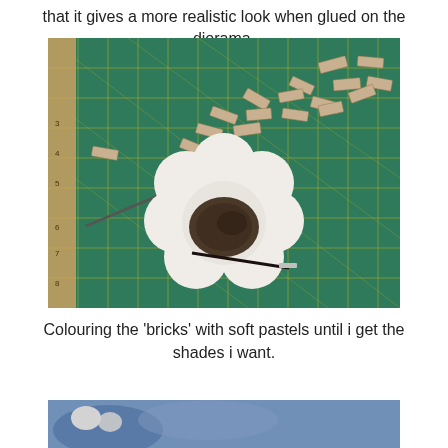that it gives a more realistic look when glued on the diorama.
[Figure (photo): A green cutting mat with small rectangular pieces of material (bricks) scattered on it, alongside a white flower-shaped paint palette with dark pastel powder in the center well and a brush resting in it.]
Colouring the 'bricks' with soft pastels until i get the shades i want.
[Figure (photo): Bottom portion of another photo showing blue fabric and small objects, partially visible.]